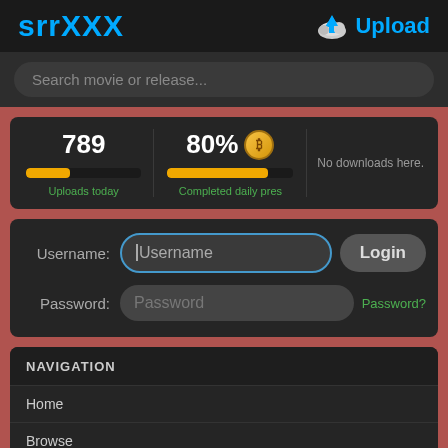srrXXX | Upload
Search movie or release...
[Figure (infographic): Stats panel showing: 789 Uploads today with progress bar (40%), 80% Completed daily pres with progress bar (80%) and bitcoin icon, No downloads here.]
[Figure (screenshot): Login form with Username and Password fields, Login button, and Password? link]
NAVIGATION
Home
Browse
Adds (754178)